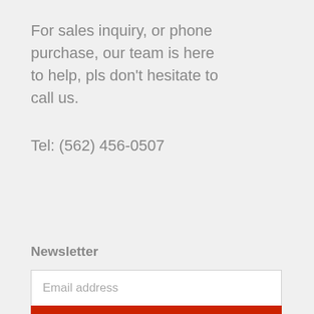For sales inquiry, or phone purchase, our team is here to help, pls don’t hesitate to call us.
Tel: (562) 456-0507
Newsletter
Email address